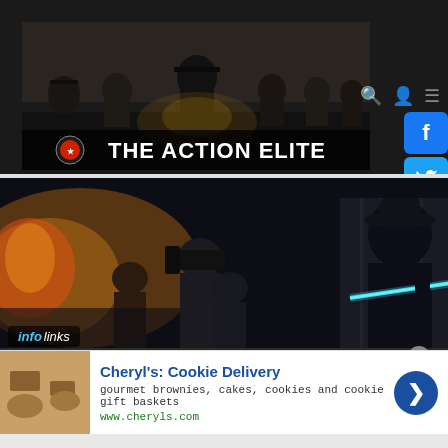[Figure (screenshot): The Action Elite website header banner with action movie characters in black and white, text 'THE ACTION ELITE' at bottom]
[Figure (screenshot): Action movie scene with people and a glowing sword/lightsaber in a dark interior setting]
infolinks
Cheryl's: Cookie Delivery
gourmet brownies, cakes, cookies and cookie gift baskets
www.cheryls.com